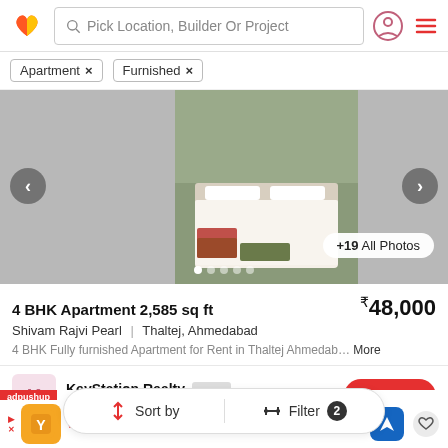[Figure (screenshot): App top navigation bar with logo, search bar 'Pick Location, Builder Or Project', user icon, and hamburger menu]
Apartment ×
Furnished ×
[Figure (photo): Bedroom photo showing a bed with white sheets and pillows, window in background, carousel with left/right arrows, dots and '+19 All Photos' button]
4 BHK Apartment 2,585 sq ft
₹48,000
Shivam Rajvi Pearl | Thaltej, Ahmedabad
4 BHK Fully furnished Apartment for Rent in Thaltej Ahmedab… More
KeyStation Realty
AGENT
Connect
Sort by
Filter 2
[Figure (screenshot): Ad banner: adpushup label, restaurant ad with orange logo, checkmarks for Dine-in and Curbside pickup, blue navigation icon, heart icon]